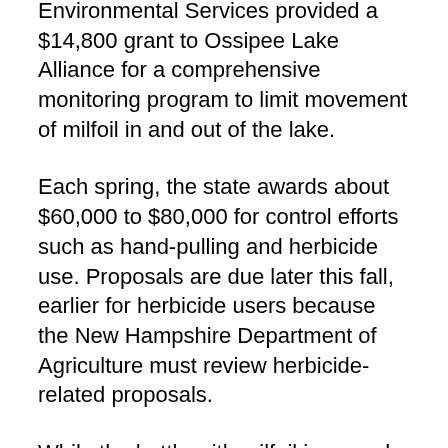Environmental Services provided a $14,800 grant to Ossipee Lake Alliance for a comprehensive monitoring program to limit movement of milfoil in and out of the lake.
Each spring, the state awards about $60,000 to $80,000 for control efforts such as hand-pulling and herbicide use. Proposals are due later this fall, earlier for herbicide users because the New Hampshire Department of Agriculture must review herbicide-related proposals.
While the battle with milfoil is waged, other invasive plants loom on the horizon. Hydrilla, a submersed, freshwater